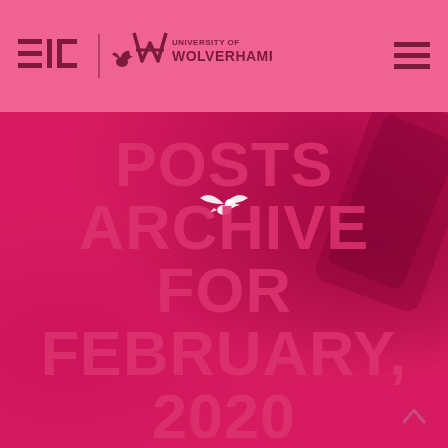EIC — University of Wolverhampton header navigation
[Figure (logo): EIC logo (three horizontal lines with bracket shapes) and University of Wolverhampton logo with bird icon and text]
[Figure (photo): Pink/magenta hero banner with blurred background image of a phone, featuring a small white dove/bird icon and large text overlay reading POSTS ARCHIVE FOR FEBRUARY, 2020]
POSTS ARCHIVE FOR FEBRUARY, 2020